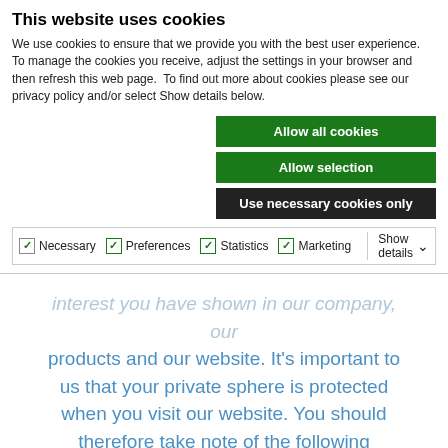This website uses cookies
We use cookies to ensure that we provide you with the best user experience.  To manage the cookies you receive, adjust the settings in your browser and then refresh this web page.  To find out more about cookies please see our privacy policy and/or select Show details below.
Allow all cookies
Allow selection
Use necessary cookies only
Necessary  Preferences  Statistics  Marketing  Show details
interest you have shown in our company, our products and our website. It's important to us that your private sphere is protected when you visit our website. You should therefore take note of the following information.
Data Protection Policy